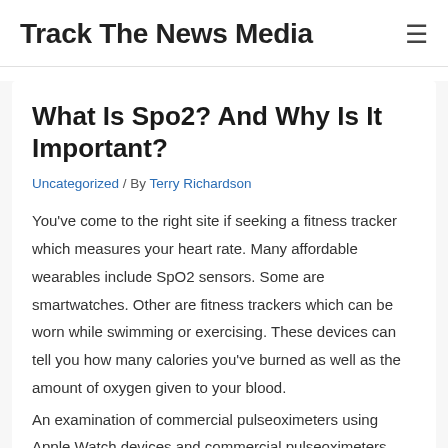Track The News Media
What Is Spo2? And Why Is It Important?
Uncategorized / By Terry Richardson
You've come to the right site if seeking a fitness tracker which measures your heart rate. Many affordable wearables include SpO2 sensors. Some are smartwatches. Other are fitness trackers which can be worn while swimming or exercising. These devices can tell you how many calories you've burned as well as the amount of oxygen given to your blood.
An examination of commercial pulseoximeters using Apple Watch devices and commercial pulseoximeters revealed a level of agreement. Statistics were significant for both SpO2 and heart rate